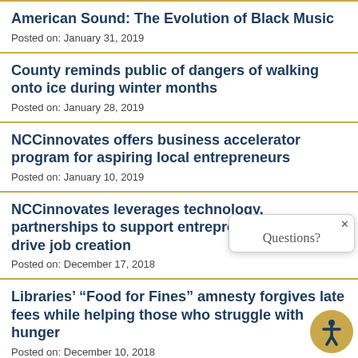American Sound: The Evolution of Black Music
Posted on: January 31, 2019
County reminds public of dangers of walking onto ice during winter months
Posted on: January 28, 2019
NCCinnovates offers business accelerator program for aspiring local entrepreneurs
Posted on: January 10, 2019
NCCinnovates leverages technology, partnerships to support entrepreneurship and drive job creation
Posted on: December 17, 2018
Libraries’ “Food for Fines” amnesty forgives late fees while helping those who struggle with hunger
Posted on: December 10, 2018
[Figure (other): Chat popup widget with close button and 'Questions?' text, plus accessibility icon button in bottom right corner]